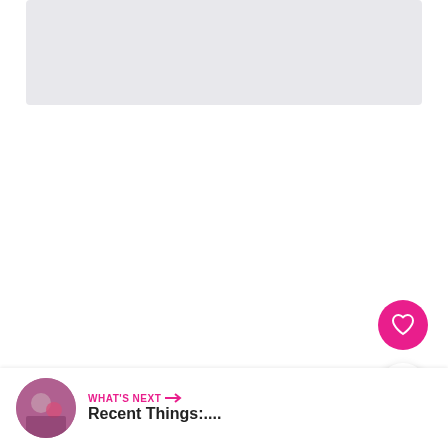[Figure (photo): Light gray rectangular image placeholder area at the top of the page]
[Figure (illustration): Pink circular heart/favorite button icon on the right side]
[Figure (illustration): White circular share button with share icon on the right side]
WHAT'S NEXT →
Recent Things:....